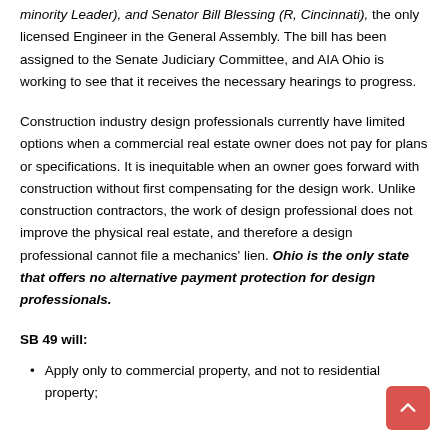minority Leader), and Senator Bill Blessing (R, Cincinnati), the only licensed Engineer in the General Assembly. The bill has been assigned to the Senate Judiciary Committee, and AIA Ohio is working to see that it receives the necessary hearings to progress.
Construction industry design professionals currently have limited options when a commercial real estate owner does not pay for plans or specifications. It is inequitable when an owner goes forward with construction without first compensating for the design work. Unlike construction contractors, the work of design professional does not improve the physical real estate, and therefore a design professional cannot file a mechanics' lien. Ohio is the only state that offers no alternative payment protection for design professionals.
SB 49 will:
Apply only to commercial property, and not to residential property;